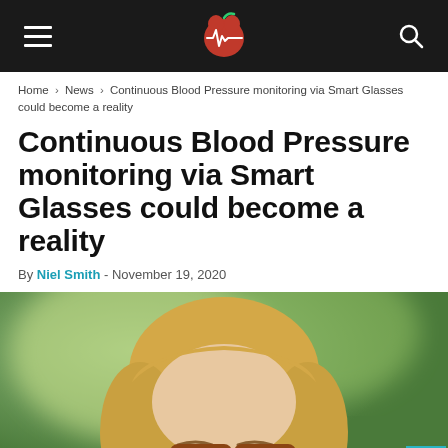Navigation bar with hamburger menu, logo (apple with heartbeat), and search icon
Home › News › Continuous Blood Pressure monitoring via Smart Glasses could become a reality
Continuous Blood Pressure monitoring via Smart Glasses could become a reality
By Niel Smith - November 19, 2020
[Figure (photo): Blonde woman wearing glasses looking upward, with green blurred background]